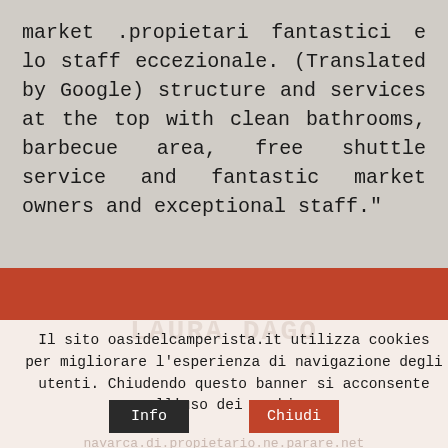market .propietari fantastici e lo staff eccezionale. (Translated by Google) structure and services at the top with clean bathrooms, barbecue area, free shuttle service and fantastic market owners and exceptional staff."
Il sito oasidelcamperista.it utilizza cookies per migliorare l'esperienza di navigazione degli utenti. Chiudendo questo banner si acconsente all'uso dei cookies.